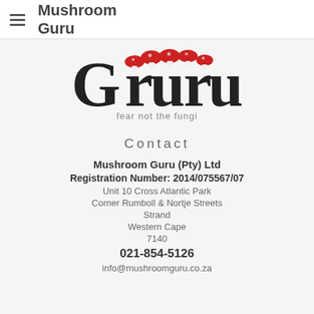Mushroom Guru
[Figure (logo): Mushroom Guru logo with stylized 'Guru' text, red mushroom caps above the letters, and tagline 'fear not the fungi']
Contact
Mushroom Guru (Pty) Ltd
Registration Number: 2014/075567/07
Unit 10 Cross Atlantic Park
Corner Rumboll & Nortje Streets
Strand
Western Cape
7140
021-854-5126
info@mushroomguru.co.za